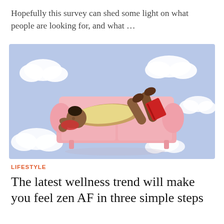Hopefully this survey can shed some light on what people are looking for, and what …
[Figure (illustration): Illustration of a person lying on a pink sofa/couch reading a book, set against a light blue sky background with white clouds. The person has dark skin and is wearing a yellow outfit, with their legs kicking up in the air holding a red book.]
LIFESTYLE
The latest wellness trend will make you feel zen AF in three simple steps